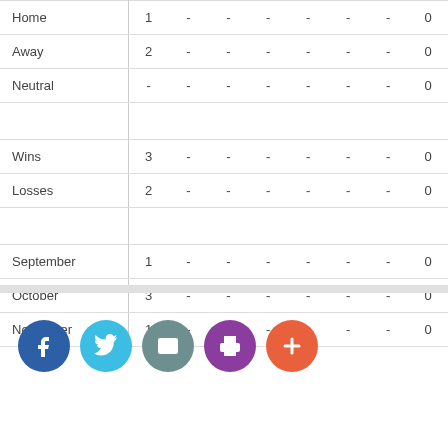| Home | 1 | - | - | - | - | - | - | 0 |
| Away | 2 | - | - | - | - | - | - | 0 |
| Neutral | - | - | - | - | - | - | - | 0 |
|  |  |  |  |  |  |  |  |  |
| Wins | 3 | - | - | - | - | - | - | 0 |
| Losses | 2 | - | - | - | - | - | - | 0 |
|  |  |  |  |  |  |  |  |  |
| September | 1 | - | - | - | - | - | - | 0 |
| October | 3 | - | - | - | - | - | - | 0 |
| November | 1 | - | - | - | - | - | - | 0 |
[Figure (infographic): Social sharing buttons: Facebook (blue), Twitter (light blue), Email (teal/grey), Print (purple), Add/bookmark (orange-red)]